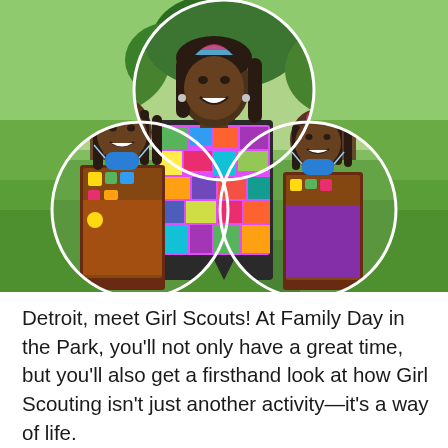[Figure (photo): A trefoil/clover-shaped composite photo showing a woman in a colorful mosaic-patterned sleeveless top with two young girls wearing Girl Scout uniforms (brown vests with badges) and face paint, standing outdoors in a park setting with green grass and trees.]
Detroit, meet Girl Scouts! At Family Day in the Park, you'll not only have a great time, but you'll also get a firsthand look at how Girl Scouting isn't just another activity—it's a way of life.